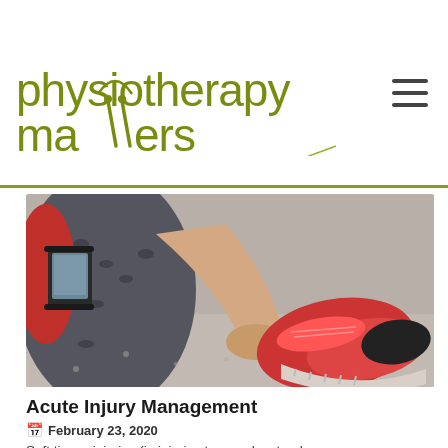[Figure (logo): Physiotherapy Matters logo with text 'physiotherapy matters' in olive/yellow-green color and subtitle 'Comprehensive Physiotherapy Service']
[Figure (photo): A woman sitting on the ground in athletic wear, holding her ankle/foot near a red sneaker, suggesting a soft tissue injury. She has a smartphone strapped to her arm.]
Acute Injury Management
February 23, 2020
Soft tissue injuries (ie injuries to muscles, tendons